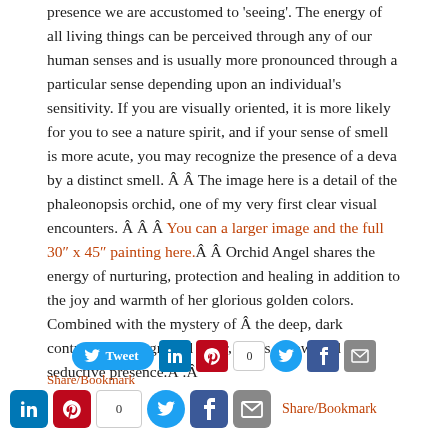presence we are accustomed to 'seeing'. The energy of all living things can be perceived through any of our human senses and is usually more pronounced through a particular sense depending upon an individual's sensitivity. If you are visually oriented, it is more likely for you to see a nature spirit, and if your sense of smell is more acute, you may recognize the presence of a deva by a distinct smell. Â Â The image here is a detail of the phaleonopsis orchid, one of my very first clear visual encounters. Â Â Â You can a larger image and the full 30″ x 45″ painting here.Â Â Orchid Angel shares the energy of nurturing, protection and healing in addition to the joy and warmth of her glorious golden colors. Combined with the mystery of Â the deep, dark contrasting background color, she is a powerful and seductive presence.Â .Â
[Figure (infographic): Social sharing bar with Tweet button, LinkedIn icon, Pinterest icon, count box showing 0, Twitter icon, Facebook icon, and email icon]
Share/Bookmark
[Figure (infographic): Second social sharing bar with LinkedIn icon, Pinterest icon, count box showing 0, Twitter icon, Facebook icon, email icon, and Share/Bookmark text link]